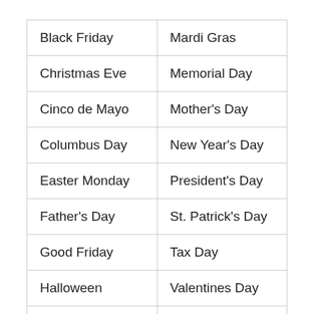| Black Friday | Mardi Gras |
| Christmas Eve | Memorial Day |
| Cinco de Mayo | Mother's Day |
| Columbus Day | New Year's Day |
| Easter Monday | President's Day |
| Father's Day | St. Patrick's Day |
| Good Friday | Tax Day |
| Halloween | Valentines Day |
|  |  |